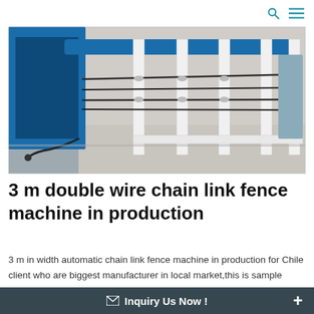🔍 ≡
[Figure (photo): Industrial chain link fence weaving machine in production — white metal frame with blue conveyor/rail on top, horizontal wire guides, standing on a concrete floor]
3 m double wire chain link fence machine in production
3 m in width automatic chain link fence machine in production for Chile client who are biggest manufacturer in local market,this is sample machine for client,when machine testing okay in Chile,client will increase big orders on chain link fence machine.
✉ Inquiry Us Now ! +